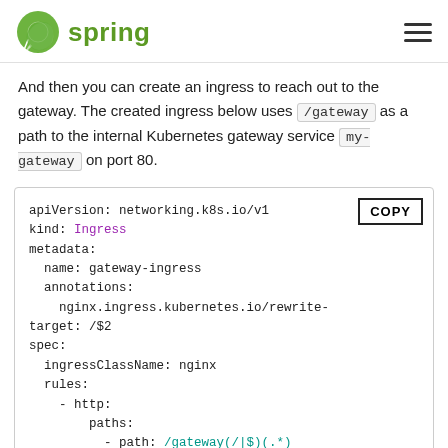spring
And then you can create an ingress to reach out to the gateway. The created ingress below uses /gateway as a path to the internal Kubernetes gateway service my-gateway on port 80.
[Figure (screenshot): YAML code block showing Kubernetes Ingress configuration with apiVersion: networking.k8s.io/v1, kind: Ingress, metadata with name gateway-ingress and nginx rewrite annotation, spec with ingressClassName nginx, rules with http paths using /gateway(/|$)(.*) path, pathType Prefix, backend service my-gateway on port]